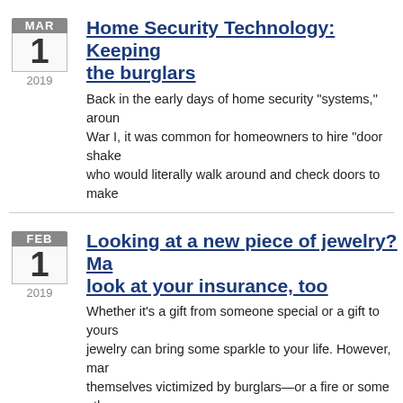Home Security Technology: Keeping the burglars
Back in the early days of home security "systems," around War I, it was common for homeowners to hire "door shake who would literally walk around and check doors to make
Looking at a new piece of jewelry? Ma look at your insurance, too
Whether it's a gift from someone special or a gift to yours jewelry can bring some sparkle to your life. However, mar themselves victimized by burglars—or a fire or some othe
Is your home as efficient as it could b audit can tell you
Drafty windows. Leaky faucets. Dirty air filters. All are co homes across the country, and they're not just annoying-t money in decreased energy efficiency and higher bills. Th